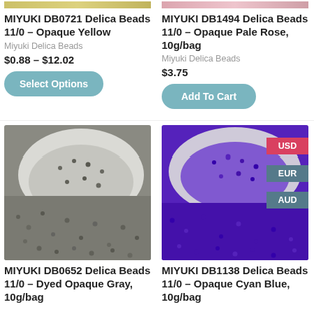[Figure (photo): Partial top image of yellow beads (cropped, top strip)]
[Figure (photo): Partial top image of pale rose beads (cropped, top strip)]
MIYUKI DB0721 Delica Beads 11/0 – Opaque Yellow
Miyuki Delica Beads
$0.88 – $12.02
Select Options
MIYUKI DB1494 Delica Beads 11/0 – Opaque Pale Rose, 10g/bag
Miyuki Delica Beads
$3.75
Add To Cart
[Figure (photo): Gray/silver seed beads in a white bowl, spilling out]
[Figure (photo): Purple/blue seed beads in a white bowl, spilling out]
MIYUKI DB0652 Delica Beads 11/0 – Dyed Opaque Gray, 10g/bag
MIYUKI DB1138 Delica Beads 11/0 – Opaque Cyan Blue, 10g/bag